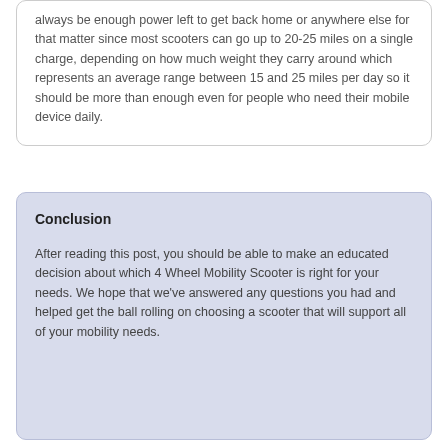always be enough power left to get back home or anywhere else for that matter since most scooters can go up to 20-25 miles on a single charge, depending on how much weight they carry around which represents an average range between 15 and 25 miles per day so it should be more than enough even for people who need their mobile device daily.
Conclusion
After reading this post, you should be able to make an educated decision about which 4 Wheel Mobility Scooter is right for your needs. We hope that we've answered any questions you had and helped get the ball rolling on choosing a scooter that will support all of your mobility needs.